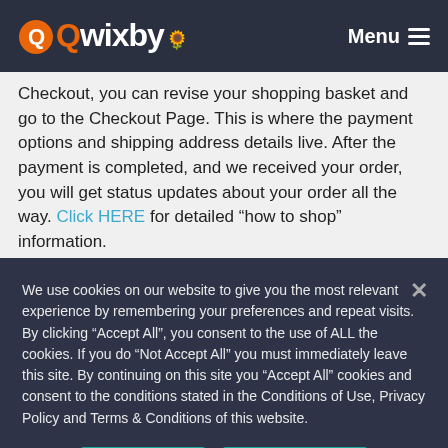Qwixby | Menu
Checkout, you can revise your shopping basket and go to the Checkout Page. This is where the payment options and shipping address details live. After the payment is completed, and we received your order, you will get status updates about your order all the way. Click HERE for detailed “how to shop” information.
We use cookies on our website to give you the most relevant experience by remembering your preferences and repeat visits. By clicking “Accept All”, you consent to the use of ALL the cookies. If you do “Not Accept All” you must immediately leave this site. By continuing on this site you “Accept All” cookies and consent to the conditions stated in the Conditions of Use, Privacy Policy and Terms & Conditions of this website.
Accept All
Privacy policy